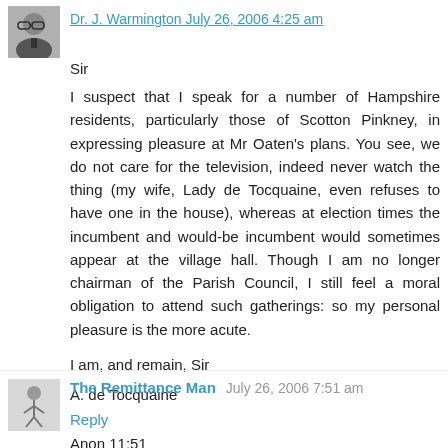Dr. J. Warmington July 26, 2006 4:25 am
Sir
I suspect that I speak for a number of Hampshire residents, particularly those of Scotton Pinkney, in expressing pleasure at Mr Oaten's plans. You see, we do not care for the television, indeed never watch the thing (my wife, Lady de Tocquaine, even refuses to have one in the house), whereas at election times the incumbent and would-be incumbent would sometimes appear at the village hall. Though I am no longer chairman of the Parish Council, I still feel a moral obligation to attend such gatherings: so my personal pleasure is the more acute.
I am, and remain, Sir
A. de Tocquaine
Reply
The Remittance Man July 26, 2006 7:51 am
Anon 11:51